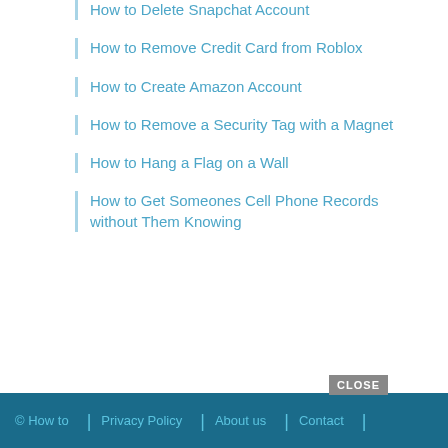How to Delete Snapchat Account
How to Remove Credit Card from Roblox
How to Create Amazon Account
How to Remove a Security Tag with a Magnet
How to Hang a Flag on a Wall
How to Get Someones Cell Phone Records without Them Knowing
© How to  |  Privacy Policy  |  About us  |  Contact